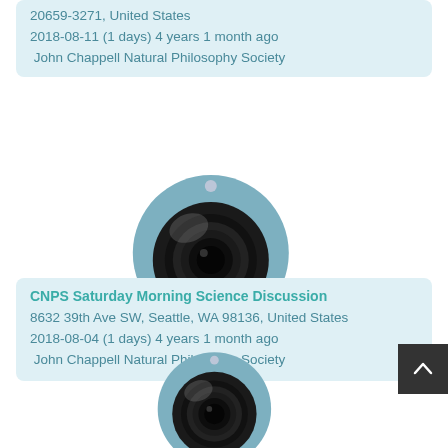20659-3271, United States
2018-08-11 (1 days) 4 years 1 month ago
 John Chappell Natural Philosophy Society
[Figure (photo): A blue and black webcam with a circular lens mount and tripod-style black feet/stand, sitting on a white background.]
CNPS Saturday Morning Science Discussion
8632 39th Ave SW, Seattle, WA 98136, United States
2018-08-04 (1 days) 4 years 1 month ago
 John Chappell Natural Philosophy Society
[Figure (photo): Partial view of a second similar blue and black webcam, cropped at the bottom of the page.]